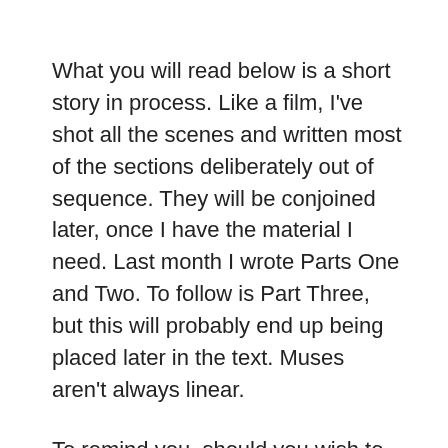What you will read below is a short story in process. Like a film, I've shot all the scenes and written most of the sections deliberately out of sequence. They will be conjoined later, once I have the material I need. Last month I wrote Parts One and Two. To follow is Part Three, but this will probably end up being placed later in the text. Muses aren't always linear.
To remind you, should you wish to read, here is Part Two. New material will follow. If it comes time for publication, I'll likely be asked to remove the song lyrics and other fragments, but for now,